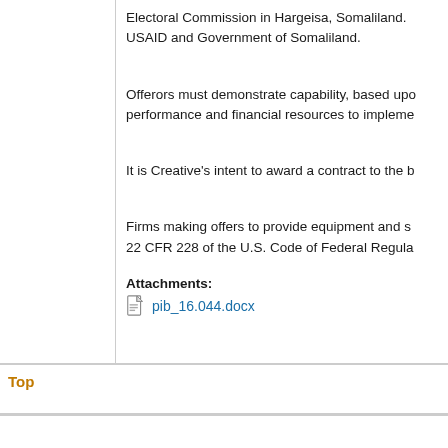Electoral Commission in Hargeisa, Somaliland. USAID and Government of Somaliland.
Offerors must demonstrate capability, based upon performance and financial resources to impleme...
It is Creative's intent to award a contract to the b...
Firms making offers to provide equipment and s... 22 CFR 228 of the U.S. Code of Federal Regula...
Attachments:
pib_16.044.docx
Top